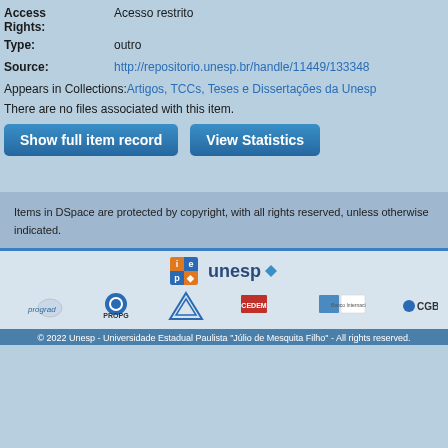Access Rights: Acesso restrito
Type: outro
Source: http://repositorio.unesp.br/handle/11449/133348
Appears in Collections: Artigos, TCCs, Teses e Dissertações da Unesp
There are no files associated with this item.
Show full item record | View Statistics
Items in DSpace are protected by copyright, with all rights reserved, unless otherwise indicated.
[Figure (logo): IEP and UNESP logos, followed by prograd, PROPG, PROEX, CEDEM, and CGB institutional logos]
© 2022 Unesp - Universidade Estadual Paulista "Júlio de Mesquita Filho" - All rights reserved.